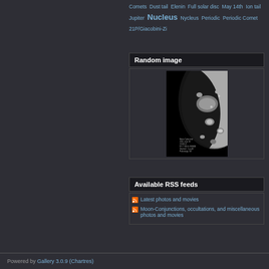Comets  Dust tail  Elenin  Full solar disc  May 14th  Ion tail  Jupiter  Nucleus  Nycleus  Periodic  Periodic Comet  21P/Giacobini-Zi
Random image
[Figure (photo): Black and white telescopic photograph of the Moon showing craters and terminator line with small data text overlay at bottom left]
Available RSS feeds
Latest photos and movies
Moon-Conjunctions, occultations, and miscellaneous photos and movies
Powered by Gallery 3.0.9 (Chartres)